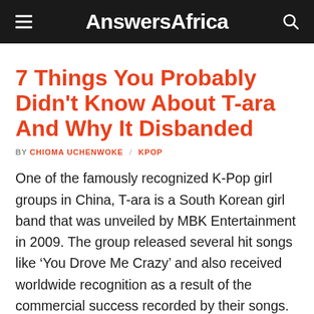AnswersAfrica
7 Things You Probably Didn't Know About T-ara And Why It Disbanded
BY CHIOMA UCHENWOKE / KPOP
One of the famously recognized K-Pop girl groups in China, T-ara is a South Korean girl band that was unveiled by MBK Entertainment in 2009. The group released several hit songs like ‘You Drove Me Crazy’ and also received worldwide recognition as a result of the commercial success recorded by their songs. Unfortunately, the girl group which made notable